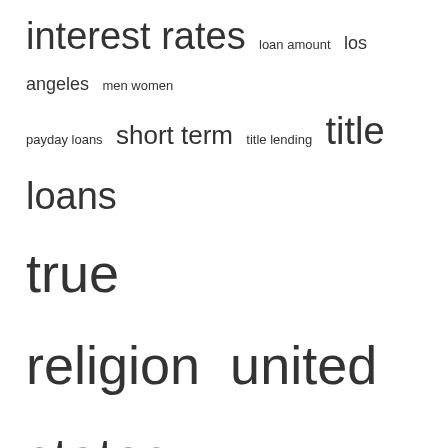interest rates  loan amount  los angeles  men women  payday loans  short term  title lending  title loans  true religion  united states  young people
RECENT POSTS
What is a title loan?
Mother of Eight Details Her Experiences in Warren Jeffs' Mormon CULT
Supreme Fall/Winter 2022 Lookbook: André 3000, Box Logos
15 years later, we haven't given up on the facts; you shouldn't either
Hi, I like your style! Inside designer Zoe Crow's wardrobe